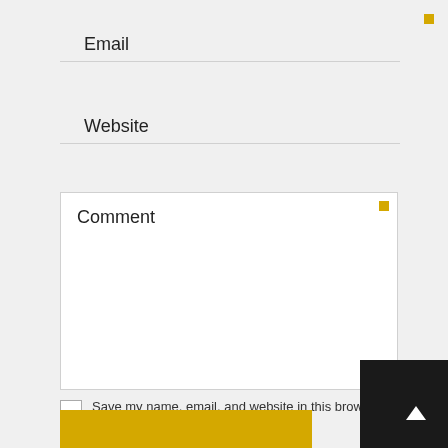Email
Website
Comment
Save my name, email, and website in this browser for the next time I comment.